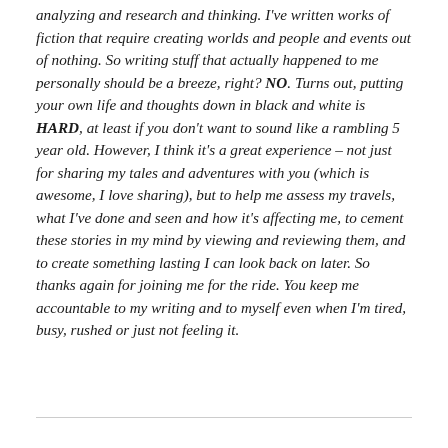analyzing and research and thinking. I've written works of fiction that require creating worlds and people and events out of nothing. So writing stuff that actually happened to me personally should be a breeze, right? NO. Turns out, putting your own life and thoughts down in black and white is HARD, at least if you don't want to sound like a rambling 5 year old. However, I think it's a great experience – not just for sharing my tales and adventures with you (which is awesome, I love sharing), but to help me assess my travels, what I've done and seen and how it's affecting me, to cement these stories in my mind by viewing and reviewing them, and to create something lasting I can look back on later. So thanks again for joining me for the ride. You keep me accountable to my writing and to myself even when I'm tired, busy, rushed or just not feeling it.